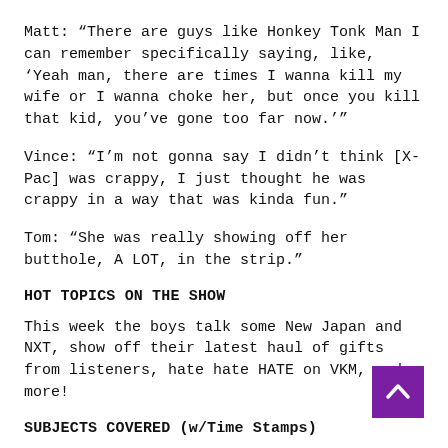Matt: “There are guys like Honkey Tonk Man I can remember specifically saying, like, ‘Yeah man, there are times I wanna kill my wife or I wanna choke her, but once you kill that kid, you’ve gone too far now.’”
Vince: “I’m not gonna say I didn’t think [X-Pac] was crappy, I just thought he was crappy in a way that was kinda fun.”
Tom: “She was really showing off her butthole, A LOT, in the strip.”
HOT TOPICS ON THE SHOW
This week the boys talk some New Japan and NXT, show off their latest haul of gifts from listeners, hate hate HATE on VKM, and more!
SUBJECTS COVERED (w/Time Stamps)
*Intro*